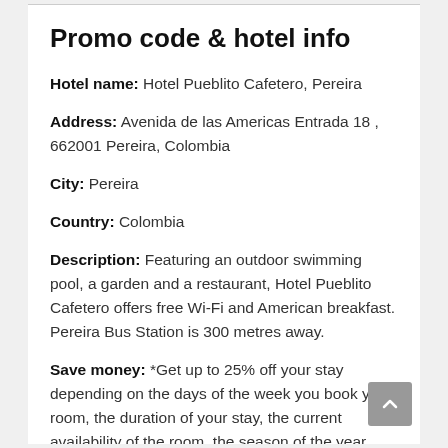Promo code & hotel info
Hotel name: Hotel Pueblito Cafetero, Pereira
Address: Avenida de las Americas Entrada 18 , 662001 Pereira, Colombia
City: Pereira
Country: Colombia
Description: Featuring an outdoor swimming pool, a garden and a restaurant, Hotel Pueblito Cafetero offers free Wi-Fi and American breakfast. Pereira Bus Station is 300 metres away.
Save money: *Get up to 25% off your stay depending on the days of the week you book your room, the duration of your stay, the current availability of the room, the season of the year, and other factors
Promotion code details: No coupon or promotion